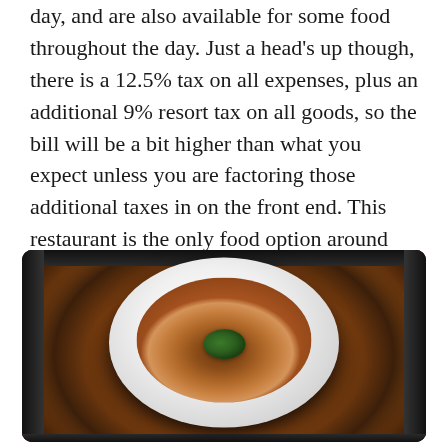day, and are also available for some food throughout the day. Just a head's up though, there is a 12.5% tax on all expenses, plus an additional 9% resort tax on all goods, so the bill will be a bit higher than what you expect unless you are factoring those additional taxes in on the front end. This restaurant is the only food option around unless you want to drive into town, but the prices were reasonable and we loved eating at Grove House every night so we didn't feel the need to go elsewhere!
[Figure (photo): A white oval plate with a bowl of brown soup garnished with green herbs (parsley or similar), photographed from above against a gray background. The photo is framed with a dark/black rounded border.]